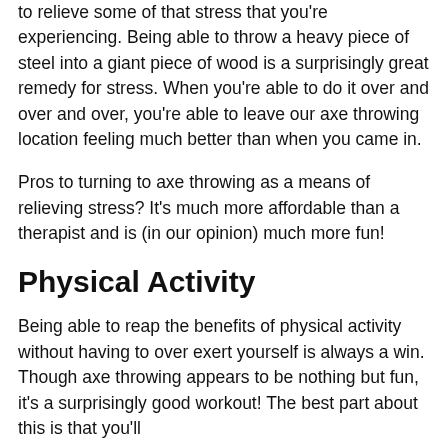to relieve some of that stress that you're experiencing. Being able to throw a heavy piece of steel into a giant piece of wood is a surprisingly great remedy for stress. When you're able to do it over and over and over, you're able to leave our axe throwing location feeling much better than when you came in.
Pros to turning to axe throwing as a means of relieving stress? It's much more affordable than a therapist and is (in our opinion) much more fun!
Physical Activity
Being able to reap the benefits of physical activity without having to over exert yourself is always a win. Though axe throwing appears to be nothing but fun, it's a surprisingly good workout! The best part about this is that you'll